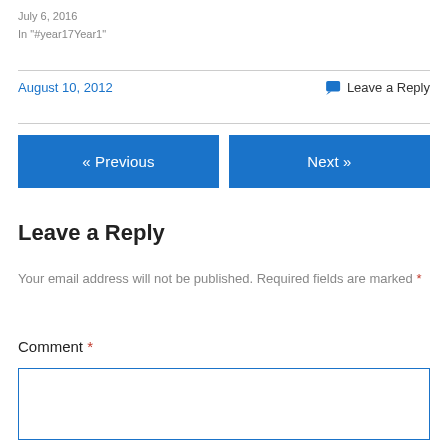July 6, 2016
In "#year17Year1"
August 10, 2012
Leave a Reply
« Previous
Next »
Leave a Reply
Your email address will not be published. Required fields are marked *
Comment *